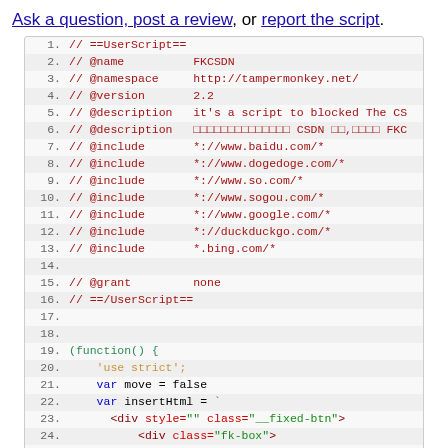Ask a question, post a review, or report the script.
[Figure (screenshot): Code block showing a UserScript header and beginning of a JavaScript IIFE, with line numbers 1-26. Lines 1-16 show UserScript metadata comments in dark red, lines 17-18 are blank, line 19 starts (function() {, line 20 shows 'use strict';, lines 21-26 show variable declarations and HTML template literal content.]